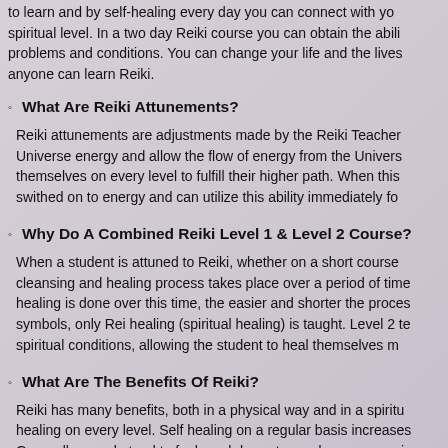to learn and by self-healing every day you can connect with your spiritual level. In a two day Reiki course you can obtain the ability to heal problems and conditions. You can change your life and the lives of others, anyone can learn Reiki.
What Are Reiki Attunements?
Reiki attunements are adjustments made by the Reiki Teacher to connect to Universe energy and allow the flow of energy from the Universe to express themselves on every level to fulfill their higher path. When this happens you are swithed on to energy and can utilize this ability immediately fo...
Why Do A Combined Reiki Level 1 & Level 2 Course?
When a student is attuned to Reiki, whether on a short course or long course, a cleansing and healing process takes place over a period of time. The more self healing is done over this time, the easier and shorter the process. Level 1 has no symbols, only Rei healing (spiritual healing) is taught. Level 2 teaches mental and spiritual conditions, allowing the student to heal themselves m...
What Are The Benefits Of Reiki?
Reiki has many benefits, both in a physical way and in a spiritual way, providing healing on every level. Self healing on a regular basis increases your awareness. Generally, people tend to feel much less stressed, more energiz... Reiki helps...